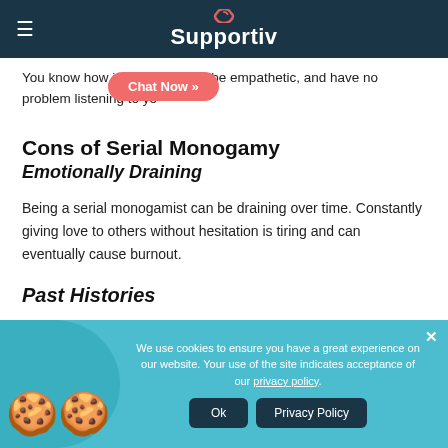Supportiv
You know how important it is to be empathetic, and have no problem listening to yo...
Cons of Serial Monogamy
Emotionally Draining
Being a serial monogamist can be draining over time. Constantly giving love to others without hesitation is tiring and can eventually cause burnout.
Past Histories
We use cookies to ensure you have a great experience on our website. Your use of the site indicates acceptance of our privacy policy.